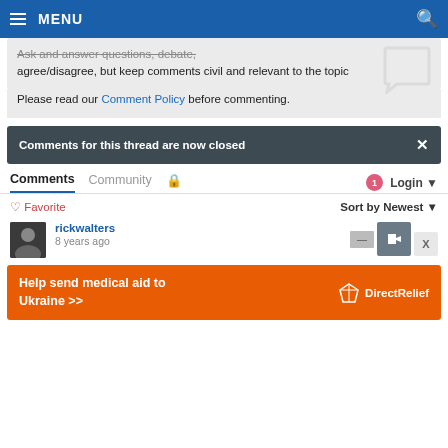MENU
Ask and answer questions, debate, agree/disagree, but keep comments civil and relevant to the topic
Please read our Comment Policy before commenting.
Comments for this thread are now closed
Comments  Community  Login
Favorite  Sort by Newest
rickwalters
8 years ago
[Figure (infographic): Orange advertisement banner: Help send medical aid to Ukraine >> with Direct Relief logo]